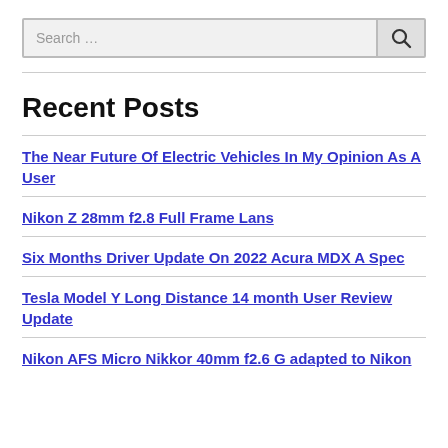Search …
Recent Posts
The Near Future Of Electric Vehicles In My Opinion As A User
Nikon Z 28mm f2.8 Full Frame Lans
Six Months Driver Update On 2022 Acura MDX A Spec
Tesla Model Y Long Distance 14 month User Review Update
Nikon AFS Micro Nikkor 40mm f2.6 G adapted to Nikon